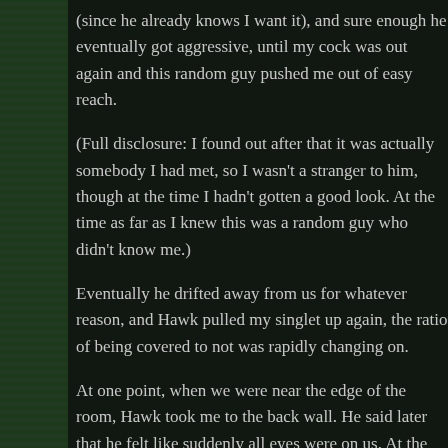(since he already knows I want it), and sure enough he eventually got aggressive, until my cock was out again and this random guy pushed me out of easy reach.
(Full disclosure: I found out after that it was actually somebody I had met, so I wasn't a stranger to him, though at the time I hadn't gotten a good look. At the time as far as I knew this was a random guy who didn't know me.)
Eventually he drifted away from us for whatever reason, and Hawk pulled my singlet up again, the ratio of being covered to not was rapidly changing on.
At one point, when we were near the edge of the room, Hawk took me to the back wall. He said later that he felt like suddenly all eyes were on us. At the time, I know why: I thought he was going to start sucking me off, and I think everybody else was thinking was about to happen too. He didn't do that, but he watched me as I was in front of him almost entirely naked, unable to cover myself up at all.
There were two quite hot guys dancing together right next to us, one of whom I had my eye on since the beginning of the night. Nice build, beard, nerd glasses. He was facing towards me and the other guy he had been with all nig